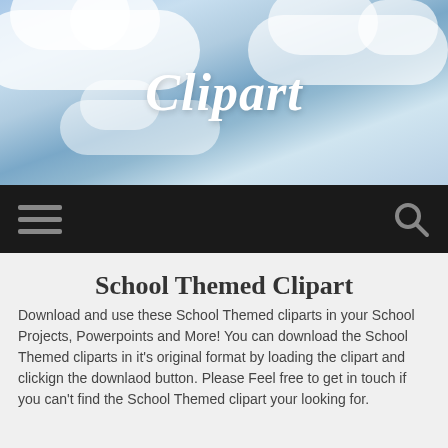[Figure (photo): Blue sky with white clouds background image for website header]
Clipart
Navigation bar with hamburger menu icon and search icon
School Themed Clipart
Download and use these School Themed cliparts in your School Projects, Powerpoints and More! You can download the School Themed cliparts in it's original format by loading the clipart and clickign the downlaod button. Please Feel free to get in touch if you can't find the School Themed clipart your looking for.